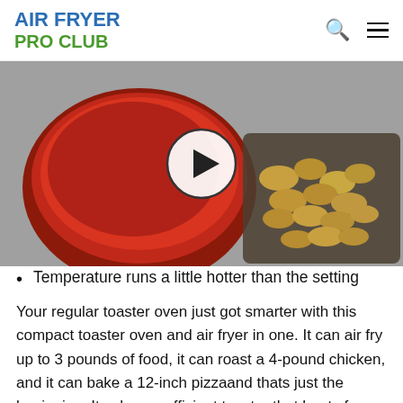AIR FRYER PRO CLUB
[Figure (photo): Photo of a bowl of red sauce and a tray of air-fried chicken wings, with a video play button overlay in the center.]
Temperature runs a little hotter than the setting
Your regular toaster oven just got smarter with this compact toaster oven and air fryer in one. It can air fry up to 3 pounds of food, it can roast a 4-pound chicken, and it can bake a 12-inch pizzaand thats just the beginning. Its also an efficient toaster that heats from both the top and bottom for even browning whether youre making toast for breakfast or baking